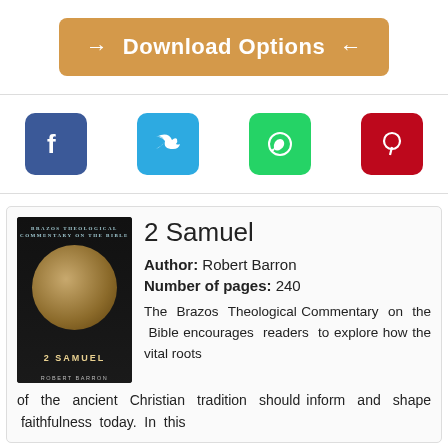[Figure (other): Download Options button with arrows, orange background]
[Figure (other): Social sharing bar with Facebook, Twitter, WhatsApp, Pinterest icons]
[Figure (other): Book cover for '2 Samuel' by Robert Barron, Brazos Theological Commentary on the Bible]
2 Samuel
Author: Robert Barron
Number of pages: 240
The Brazos Theological Commentary on the Bible encourages readers to explore how the vital roots of the ancient Christian tradition should inform and shape faithfulness today. In this